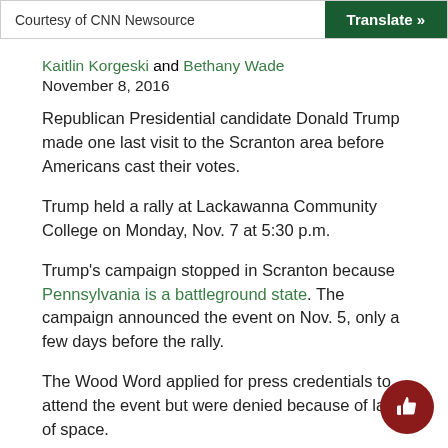Courtesy of CNN Newsource | Translate »
Kaitlin Korgeski and Bethany Wade
November 8, 2016
Republican Presidential candidate Donald Trump made one last visit to the Scranton area before Americans cast their votes.
Trump held a rally at Lackawanna Community College on Monday, Nov. 7 at 5:30 p.m.
Trump's campaign stopped in Scranton because Pennsylvania is a battleground state. The campaign announced the event on Nov. 5, only a few days before the rally.
The Wood Word applied for press credentials to attend the event but were denied because of lack of space.